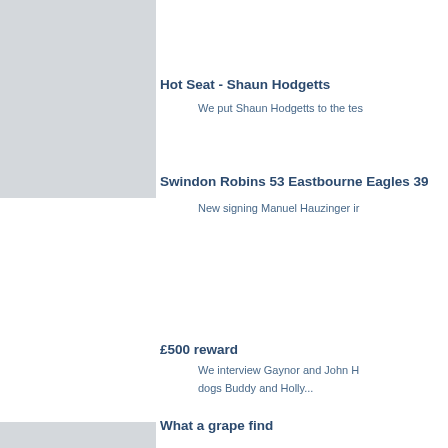Hot Seat - Shaun Hodgetts
We put Shaun Hodgetts to the tes
Swindon Robins 53 Eastbourne Eagles 39
New signing Manuel Hauzinger ir
£500 reward
We interview Gaynor and John H dogs Buddy and Holly...
What a grape find
Swindon's Riesling in the wine wo